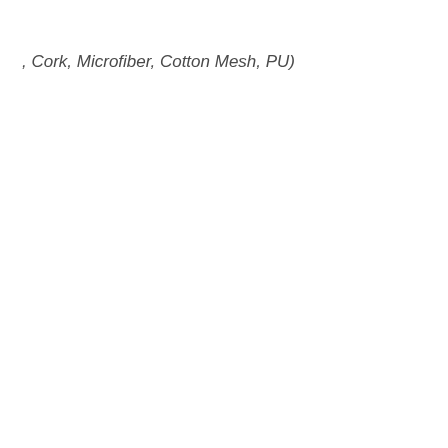, Cork, Microfiber, Cotton Mesh, PU)